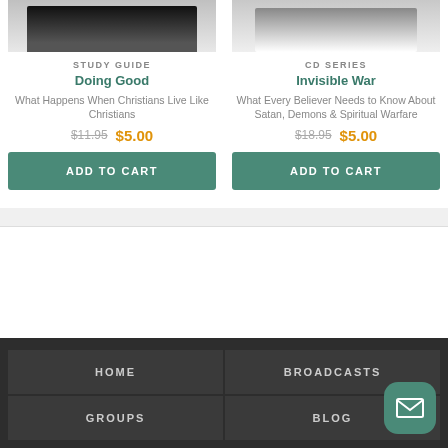[Figure (photo): Product image for Doing Good study guide - book/tablet device on white background]
[Figure (photo): Product image for Invisible War CD series - white book/case on white background]
STUDY GUIDE
CD SERIES
Doing Good
Invisible War
What Happens When Christians Live Like Christians
What Every Believer Needs to Know About Satan, Demons & Spiritual Warfare
$11.95  $5.00
$18.95  $5.00
ADD TO CART
ADD TO CART
HOME   BROADCASTS   GROUPS   BLOG